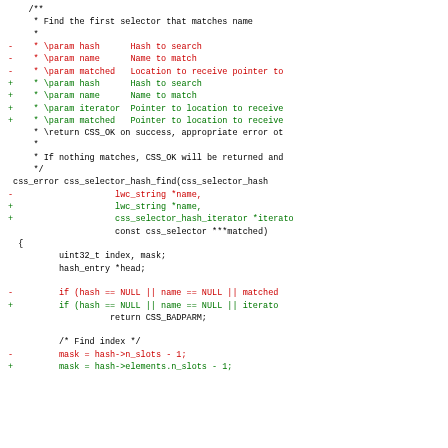[Figure (other): A code diff showing changes to a C function css_selector_hash_find, with red lines for removed code and green lines for added code. Includes comment block changes and function signature modifications.]